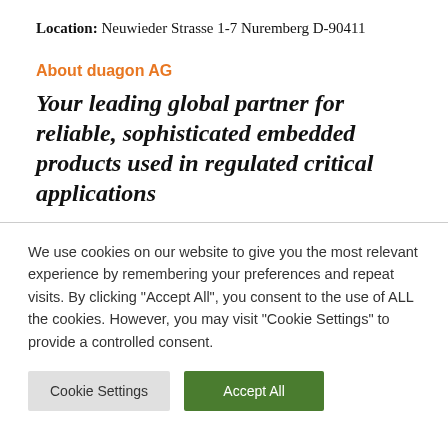Location: Neuwieder Strasse 1-7 Nuremberg D-90411
About duagon AG
Your leading global partner for reliable, sophisticated embedded products used in regulated critical applications
We use cookies on our website to give you the most relevant experience by remembering your preferences and repeat visits. By clicking “Accept All”, you consent to the use of ALL the cookies. However, you may visit “Cookie Settings” to provide a controlled consent.
Cookie Settings | Accept All